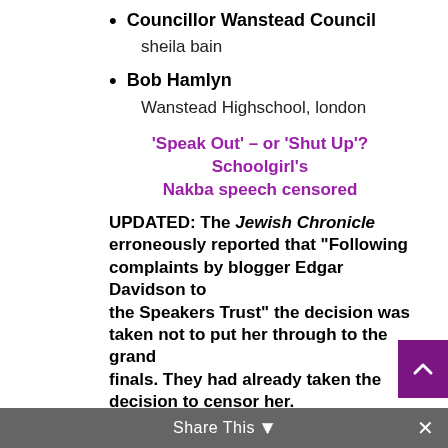Councillor Wanstead Council
sheila bain
Bob Hamlyn
Wanstead Highschool, london
‘Speak Out’ – or ‘Shut Up’? Schoolgirl’s Nakba speech censored
UPDATED: The Jewish Chronicle erroneously reported that “Following complaints by blogger Edgar Davidson to the Speakers Trust” the decision was taken not to put her through to the grand finals. They had already taken the decision to censor her.
Share This